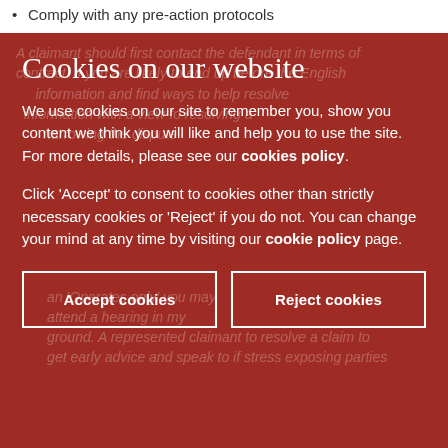Comply with any pre-action protocols
Cookies on our website
We use cookies on our site to remember you, show you content we think you will like and help you to use the site. For more details, please see our cookies policy.
Click 'Accept' to consent to cookies other than strictly necessary cookies or 'Reject' if you do not. You can change your mind at any time by visiting our cookie policy page.
Accept cookies
Reject cookies